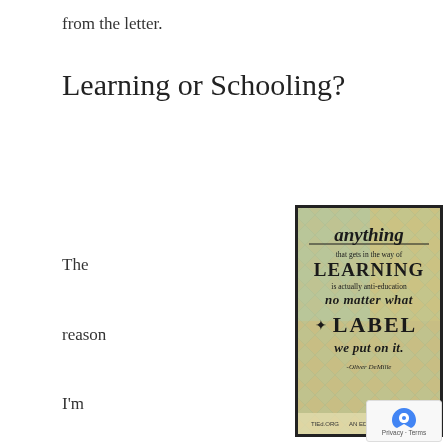from the letter.
Learning or Schooling?
[Figure (illustration): Decorative image with a quote on a diamond-pattern background: 'anything that gets in the way of LEARNING is actually anti-education no matter what LABEL we put on it. -Oliver DeMille' with TIEd.org and 'AN EDUCATION TO MEET YOU' branding at the bottom.]
The reason I'm sharing this story is that one section in my